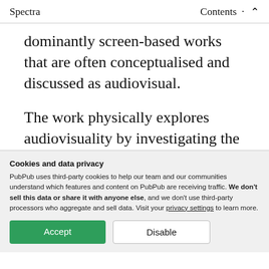Spectra   Contents
dominantly screen-based works that are often conceptualised and discussed as audiovisual.
The work physically explores audiovisuality by investigating the commonalities of light and sound spectra, and how their respective
Cookies and data privacy
PubPub uses third-party cookies to help our team and our communities understand which features and content on PubPub are receiving traffic. We don't sell this data or share it with anyone else, and we don't use third-party processors who aggregate and sell data. Visit your privacy settings to learn more.